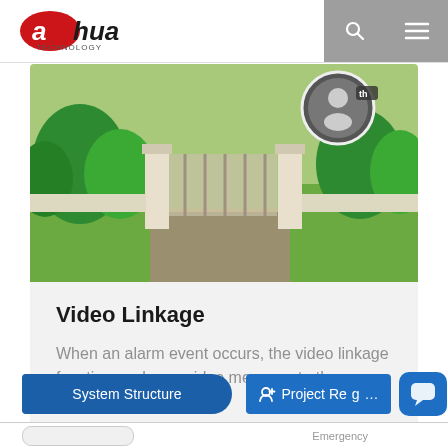[Figure (logo): Dahua Technology logo — stylized red oval with white 'a' letter and black 'hua' text, with 'TECHNOLOGY' below]
[Figure (photo): Photograph of a residential gate entrance with green trees and garden, overlaid with a circular camera/face-detection thumbnail in top-right corner]
Video Linkage
When an alarm event occurs, the video linkage function pushes a video message to the management…
[Figure (screenshot): Two navigation buttons: 'System Structure' (blue rounded button) and 'Project Reg...' (blue button with person-plus icon), plus a chat bubble widget]
[Figure (screenshot): Bottom strip with a pill-shaped element on left and 'Emergency' text partially visible on right]